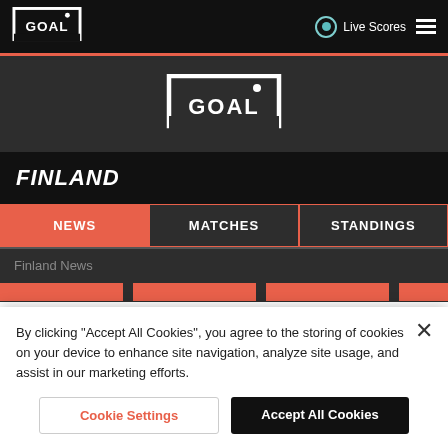GOAL | Live Scores
[Figure (logo): GOAL logo large centered on dark background]
FINLAND
NEWS | MATCHES | STANDINGS
Finland News
By clicking "Accept All Cookies", you agree to the storing of cookies on your device to enhance site navigation, analyze site usage, and assist in our marketing efforts.
Cookie Settings | Accept All Cookies